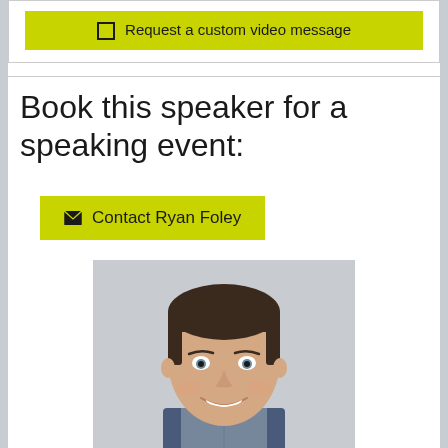☐ Request a custom video message
Book this speaker for a speaking event:
✉ Contact Ryan Foley
[Figure (photo): Professional headshot of Ryan Foley, a middle-aged man with short dark brown hair, light eyes, smiling, wearing a blue jacket and plaid shirt, against a light grey background.]